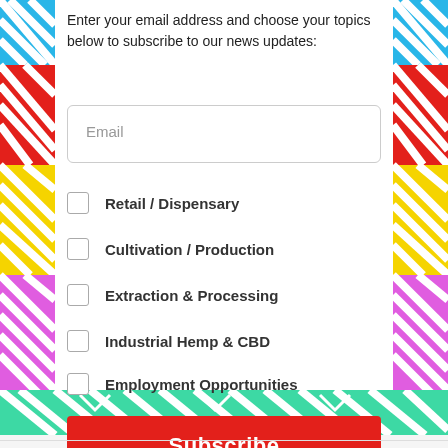Enter your email address and choose your topics below to subscribe to our news updates:
Retail / Dispensary
Cultivation / Production
Extraction & Processing
Industrial Hemp & CBD
Employment Opportunities